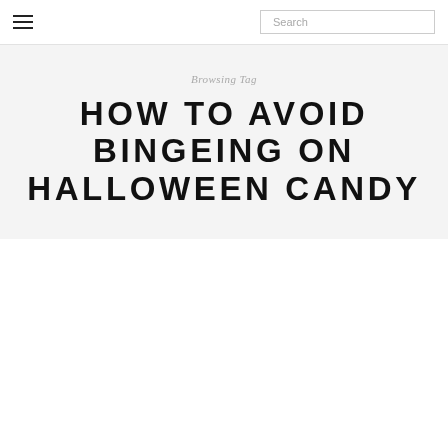Search
Browsing Tag
HOW TO AVOID BINGEING ON HALLOWEEN CANDY